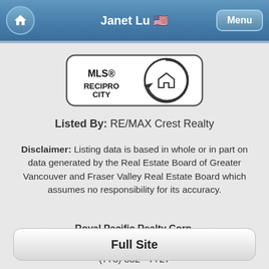Janet Lu   Menu
[Figure (logo): MLS® Reciprocity logo — circular arrow graphic with house icon and text MLS® RECIPROCITY inside a rounded rectangle border]
Listed By: RE/MAX Crest Realty
Disclaimer: Listing data is based in whole or in part on data generated by the Real Estate Board of Greater Vancouver and Fraser Valley Real Estate Board which assumes no responsibility for its accuracy.
Royal Pacific Realty Corp.
N550, 650 West 41st Ave, Vancouver BC
(778) 882 - 7727
Full Site